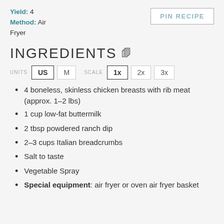Yield: 4
Method: Air Fryer
PIN RECIPE
INGREDIENTS
UNITS US M SCALE 1x 2x 3x
4 boneless, skinless chicken breasts with rib meat (approx. 1–2 lbs)
1 cup low-fat buttermilk
2 tbsp powdered ranch dip
2–3 cups Italian breadcrumbs
Salt to taste
Vegetable Spray
Special equipment: air fryer or oven air fryer basket